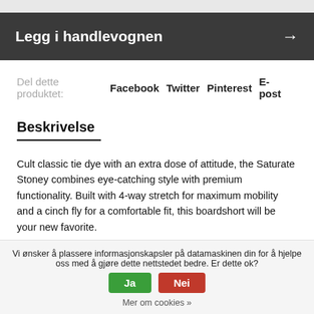[Figure (other): Gray top bar]
Legg i handlevognen →
Del dette produktet: Facebook Twitter Pinterest E-post
Beskrivelse
Cult classic tie dye with an extra dose of attitude, the Saturate Stoney combines eye-catching style with premium functionality. Built with 4-way stretch for maximum mobility and a cinch fly for a comfortable fit, this boardshort will be your new favorite.
Vi ønsker å plassere informasjonskapsler på datamaskinen din for å hjelpe oss med å gjøre dette nettstedet bedre. Er dette ok? Ja Nei Mer om cookies »